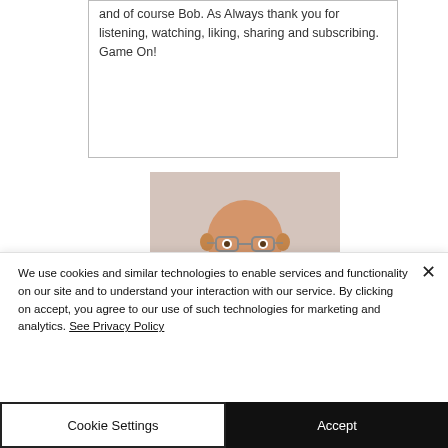and of course Bob. As Always thank you for listening, watching, liking, sharing and subscribing. Game On!
[Figure (photo): A bald man with glasses smiling, wearing a dark t-shirt that reads 'THE ORIGINAL' with a Mario-style pixel art graphic on the front.]
We use cookies and similar technologies to enable services and functionality on our site and to understand your interaction with our service. By clicking on accept, you agree to our use of such technologies for marketing and analytics. See Privacy Policy